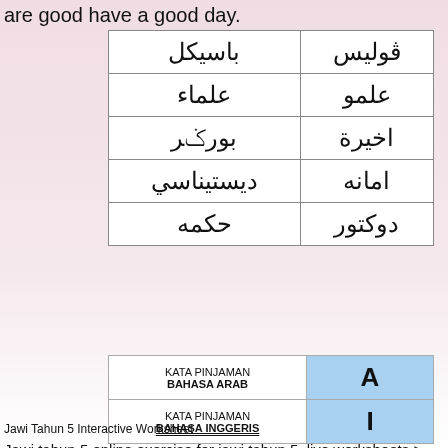are good have a good day.
| باسيكل | ڤوليس |
| علماء | علمو |
| بورݢر | اخيرة |
| ديستيناسي | امانه |
| حكمه | دوكتور |
| KATA PINJAMAN
BAHASA ARAB | A |
| KATA PINJAMAN
BAHASA INGGERIS | I |
Jawi Tahun 5 Interactive Worksheet
Jawi tahun 5 online exercise for jawi tahun 5. live worksheets > malay > pendidikan islam > jawi > jawi tahun 5. jawi tahun 5. jawi tahun 5: pakaian tradisional. id: 2103596. language: malay. school